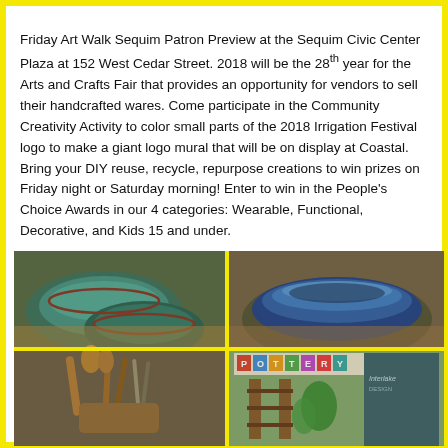Friday Art Walk Sequim Patron Preview at the Sequim Civic Center Plaza at 152 West Cedar Street. 2018 will be the 28th year for the Arts and Crafts Fair that provides an opportunity for vendors to sell their handcrafted wares. Come participate in the Community Creativity Activity to color small parts of the 2018 Irrigation Festival logo to make a giant logo mural that will be on display at Coastal. Bring your DIY reuse, recycle, repurpose creations to win prizes on Friday night or Saturday morning! Enter to win in the People's Choice Awards in our 4 categories: Wearable, Functional, Decorative, and Kids 15 and under.
[Figure (photo): Four-panel photo collage of handcrafted pottery and craft fair items: top-left shows two green-blue glazed ceramic bowls, top-right shows a large blue-brown glazed ceramic bowl, bottom-left shows wooden spoons and utensils, bottom-right shows a craft fair booth with a 'POTTERY' sign and display shelves.]